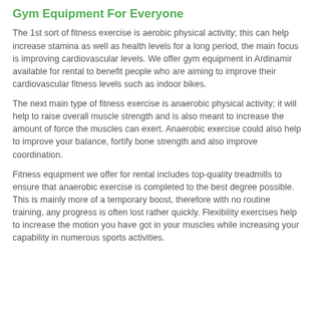Gym Equipment For Everyone
The 1st sort of fitness exercise is aerobic physical activity; this can help increase stamina as well as health levels for a long period, the main focus is improving cardiovascular levels. We offer gym equipment in Ardinamir available for rental to benefit people who are aiming to improve their cardiovascular fitness levels such as indoor bikes.
The next main type of fitness exercise is anaerobic physical activity; it will help to raise overall muscle strength and is also meant to increase the amount of force the muscles can exert. Anaerobic exercise could also help to improve your balance, fortify bone strength and also improve coordination.
Fitness equipment we offer for rental includes top-quality treadmills to ensure that anaerobic exercise is completed to the best degree possible. This is mainly more of a temporary boost, therefore with no routine training, any progress is often lost rather quickly. Flexibility exercises help to increase the motion you have got in your muscles while increasing your capability in numerous sports activities.